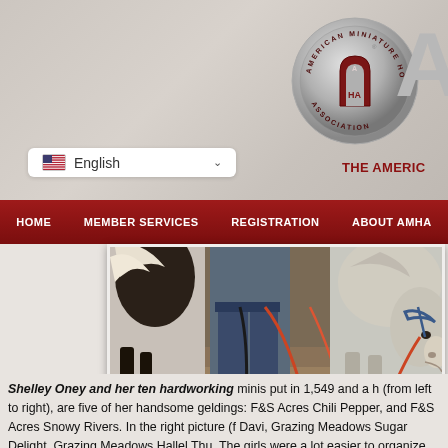American Miniature Horse Association website header with logo and language selector
[Figure (logo): AMHA circular medallion logo with 'A' letter mark and 'THE AMERIC' text]
[Figure (photo): Photo of miniature horses being led by a person, showing legs and hooves of horses with lead ropes]
Shelley Oney and her ten hardworking minis put in 1,549 and a h (from left to right), are five of her handsome geldings: F&S Acres Chili Pepper, and F&S Acres Snowy Rivers. In the right picture (f Davi, Grazing Meadows Sugar Delight, Grazing Meadows Hallel Thu. The girls were a lot easier to organize than the boys!